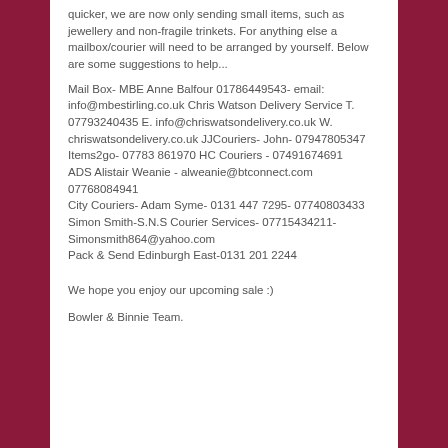quicker, we are now only sending small items, such as jewellery and non-fragile trinkets. For anything else a mailbox/courier will need to be arranged by yourself. Below are some suggestions to help...
Mail Box- MBE Anne Balfour 01786449543- email: info@mbestirling.co.uk Chris Watson Delivery Service T. 07793240435 E. info@chriswatsondelivery.co.uk W. chriswatsondelivery.co.uk JJCouriers- John- 07947805347 Items2go- 07783 861970 HC Couriers - 07491674691
ADS Alistair Weanie - alweanie@btconnect.com 07768084941
City Couriers- Adam Syme- 0131 447 7295- 07740803433
Simon Smith-S.N.S Courier Services- 07715434211- Simonsmith864@yahoo.com
Pack & Send Edinburgh East-0131 201 2244
We hope you enjoy our upcoming sale :)
Bowler & Binnie Team.